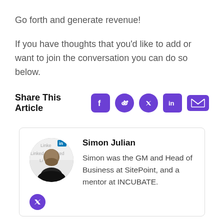Go forth and generate revenue!
If you have thoughts that you'd like to add or want to join the conversation you can do so below.
Share This Article
[Figure (infographic): Social share icons for Facebook, Reddit, Twitter, LinkedIn, and Email]
[Figure (photo): Author photo of Simon Julian with LinkedIn background, circular crop]
Simon Julian
Simon was the GM and Head of Business at SitePoint, and a mentor at INCUBATE.